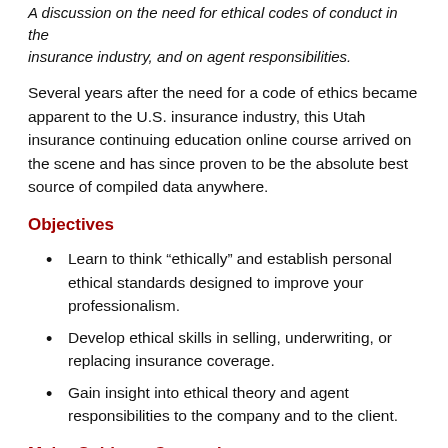A discussion on the need for ethical codes of conduct in the insurance industry, and on agent responsibilities.
Several years after the need for a code of ethics became apparent to the U.S. insurance industry, this Utah insurance continuing education online course arrived on the scene and has since proven to be the absolute best source of compiled data anywhere.
Objectives
Learn to think “ethically” and establish personal ethical standards designed to improve your professionalism.
Develop ethical skills in selling, underwriting, or replacing insurance coverage.
Gain insight into ethical theory and agent responsibilities to the company and to the client.
Major Subjects Covered